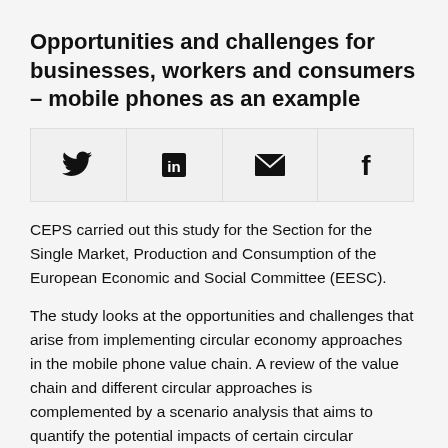Opportunities and challenges for businesses, workers and consumers – mobile phones as an example
[Figure (other): Social sharing icon bar with four icons: Twitter (bird), LinkedIn (in), email (envelope), Facebook (f)]
CEPS carried out this study for the Section for the Single Market, Production and Consumption of the European Economic and Social Committee (EESC).
The study looks at the opportunities and challenges that arise from implementing circular economy approaches in the mobile phone value chain. A review of the value chain and different circular approaches is complemented by a scenario analysis that aims to quantify the potential impacts of certain circular approaches such as recycling, refurbishment and lifetime extension. The study finds that there is a large untapped potential for recovering materials from both the annual flow of